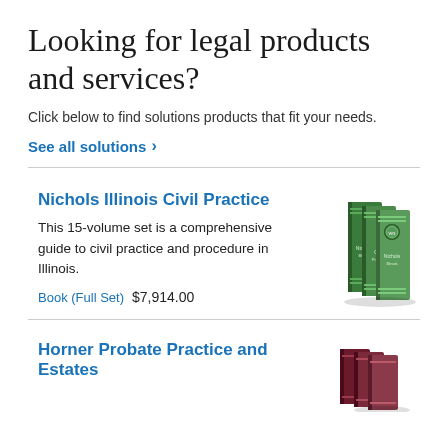Looking for legal products and services?
Click below to find solutions products that fit your needs.
See all solutions ›
Nichols Illinois Civil Practice
This 15-volume set is a comprehensive guide to civil practice and procedure in Illinois.
Book (Full Set)  $7,914.00
[Figure (photo): Stack of green law books labeled 'Nichols Illinois Civil Practice']
Horner Probate Practice and Estates
[Figure (photo): Stack of dark red/maroon law books labeled 'Horner Probate Practice and Estates']